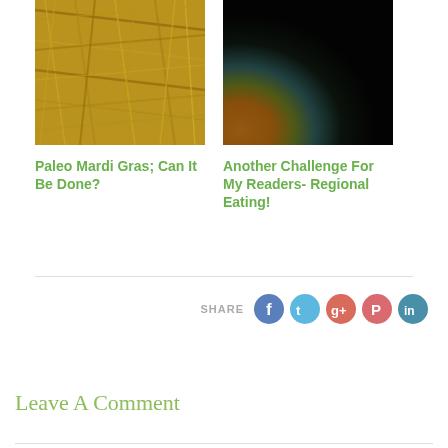[Figure (photo): Close-up photo of dry straw/hay]
[Figure (photo): Dark abstract colorful gradient image]
Paleo Mardi Gras; Can It Be Done?
Another Challenge For My Readers- Regional Eating!
SHARE
Leave A Comment